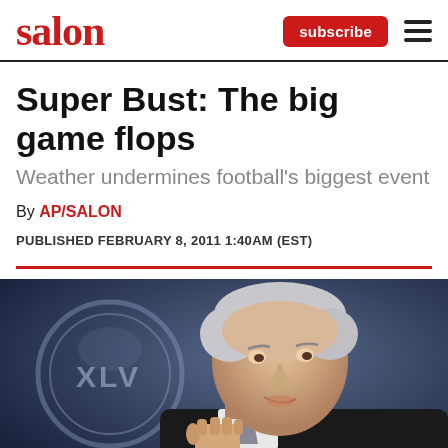salon  subscribe ☰
Super Bust: The big game flops
Weather undermines football's biggest event
By AP/SALON
PUBLISHED FEBRUARY 8, 2011 1:40AM (EST)
[Figure (photo): A man in a suit gesturing with a raised fist against a dark blue background with a Super Bowl XLV logo/banner partially visible on the left.]